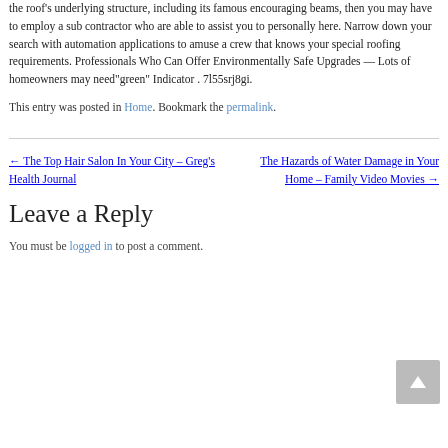the roof's underlying structure, including its famous encouraging beams, then you may have to employ a sub contractor who are able to assist you to personally here. Narrow down your search with automation applications to amuse a crew that knows your special roofing requirements. Professionals Who Can Offer Environmentally Safe Upgrades — Lots of homeowners may need"green" Indicator . 7l55srj8gi.
This entry was posted in Home. Bookmark the permalink.
← The Top Hair Salon In Your City – Greg's Health Journal
The Hazards of Water Damage in Your Home – Family Video Movies →
Leave a Reply
You must be logged in to post a comment.